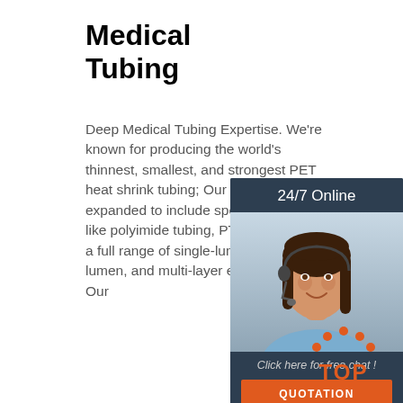Medical Tubing
Deep Medical Tubing Expertise. We're known for producing the world's thinnest, smallest, and strongest PET heat shrink tubing; Our tubing line has expanded to include specialized items like polyimide tubing, PTFE tubing, and a full range of single-lumen, multi-lumen, and multi-layer extruded tubing; Our
[Figure (infographic): 24/7 Online support widget with photo of female customer service agent wearing headset, 'Click here for free chat!' text, and orange QUOTATION button on dark navy background]
[Figure (logo): Orange circular arrow TOP logo with 'TOP' text in orange]